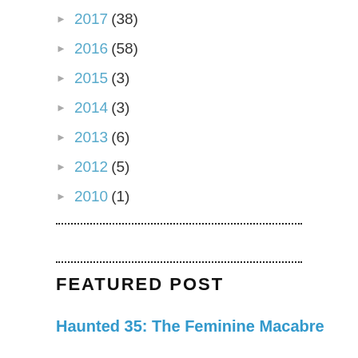► 2017 (38)
► 2016 (58)
► 2015 (3)
► 2014 (3)
► 2013 (6)
► 2012 (5)
► 2010 (1)
FEATURED POST
Haunted 35: The Feminine Macabre